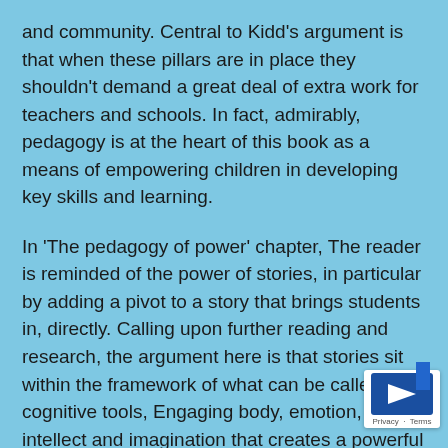and community. Central to Kidd's argument is that when these pillars are in place they shouldn't demand a great deal of extra work for teachers and schools. In fact, admirably, pedagogy is at the heart of this book as a means of empowering children in developing key skills and learning.
In 'The pedagogy of power' chapter, The reader is reminded of the power of stories, in particular by adding a pivot to a story that brings students in, directly. Calling upon further reading and research, the argument here is that stories sit within the framework of what can be called our cognitive tools, Engaging body, emotion, intellect and imagination that creates a powerful web in which we can trap learning and memory. Alongside stories, Debra also reminds us about the power of within education – an opportunity often neglected children grow older – along also with the power of